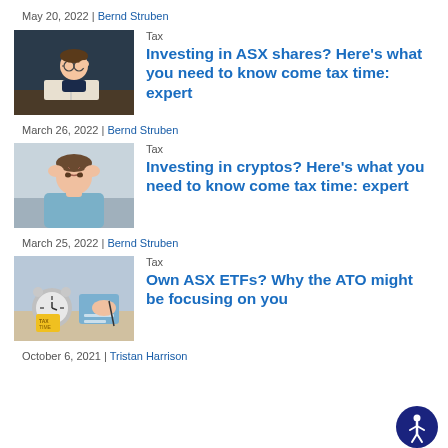May 20, 2022 | Bernd Struben
[Figure (photo): Young boy with glasses sitting at desk reading a book, thinking]
Tax
Investing in ASX shares? Here’s what you need to know come tax time: expert
March 26, 2022 | Bernd Struben
[Figure (photo): Man holding his head in hands, stressed]
Tax
Investing in cryptos? Here’s what you need to know come tax time: expert
March 25, 2022 | Bernd Struben
[Figure (photo): Alarm clock with tax time sticky note, person writing in background]
Tax
Own ASX ETFs? Why the ATO might be focusing on you
October 6, 2021 | Tristan Harrison